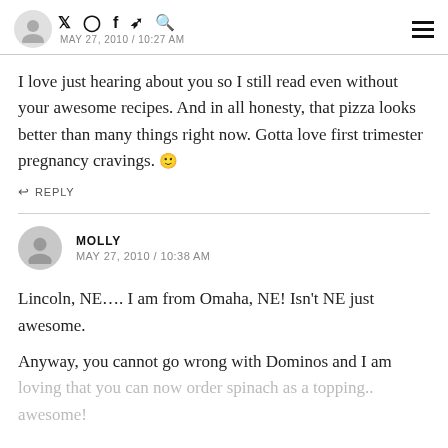MAY 27, 2010 / 10:27 AM
I love just hearing about you so I still read even without your awesome recipes. And in all honesty, that pizza looks better than many things right now. Gotta love first trimester pregnancy cravings. 😊
↩ REPLY
MOLLY
MAY 27, 2010 / 10:38 AM
Lincoln, NE…. I am from Omaha, NE! Isn't NE just awesome.
Anyway, you cannot go wrong with Dominos and I am loving that you can now order spinach as a topping.. awesome!